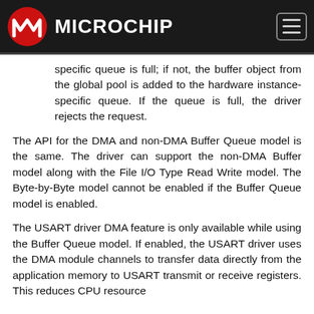Microchip
specific queue is full; if not, the buffer object from the global pool is added to the hardware instance-specific queue. If the queue is full, the driver rejects the request.
The API for the DMA and non-DMA Buffer Queue model is the same. The driver can support the non-DMA Buffer model along with the File I/O Type Read Write model. The Byte-by-Byte model cannot be enabled if the Buffer Queue model is enabled.
The USART driver DMA feature is only available while using the Buffer Queue model. If enabled, the USART driver uses the DMA module channels to transfer data directly from the application memory to USART transmit or receive registers. This reduces CPU resource